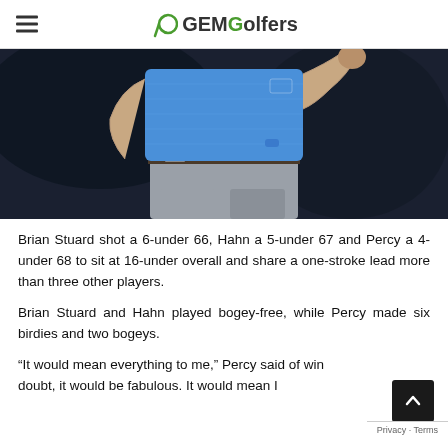GEMGolfers
[Figure (photo): Golfer in blue polo shirt and grey pants, cropped at torso, dark blurred background]
Brian Stuard shot a 6-under 66, Hahn a 5-under 67 and Percy a 4-under 68 to sit at 16-under overall and share a one-stroke lead more than three other players.
Brian Stuard and Hahn played bogey-free, while Percy made six birdies and two bogeys.
“It would mean everything to me,” Percy said of win doubt, it would be fabulous. It would mean I … it … it … … which is … distinction…